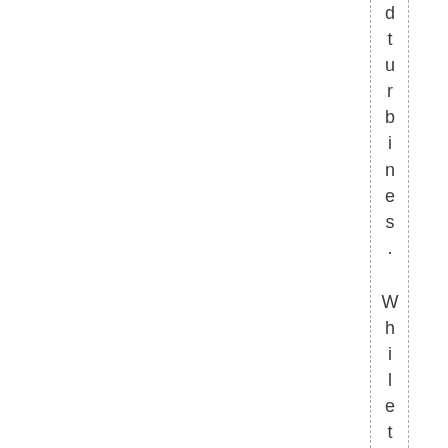d t u r b i n e s .  W h i l e t h e m e d i a g